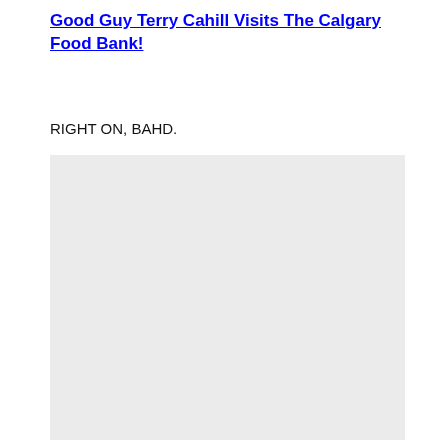Good Guy Terry Cahill Visits The Calgary Food Bank!
RIGHT ON, BAHD.
[Figure (photo): A light gray placeholder image area below the text]